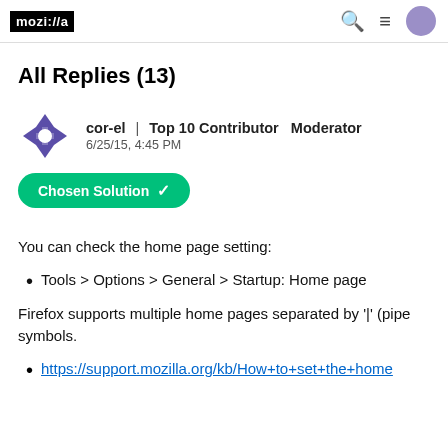mozilla/a
All Replies (13)
cor-el | Top 10 Contributor  Moderator
6/25/15, 4:45 PM
Chosen Solution ✓
You can check the home page setting:
Tools > Options > General > Startup: Home page
Firefox supports multiple home pages separated by '|' (pipe symbols.
https://support.mozilla.org/kb/How+to+set+the+home